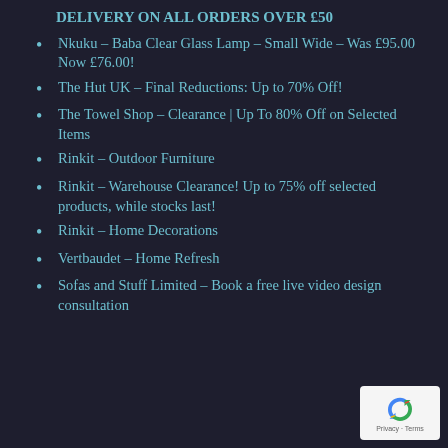DELIVERY ON ALL ORDERS OVER £50
Nkuku – Baba Clear Glass Lamp – Small Wide – Was £95.00 Now £76.00!
The Hut UK – Final Reductions: Up to 70% Off!
The Towel Shop – Clearance | Up To 80% Off on Selected Items
Rinkit – Outdoor Furniture
Rinkit – Warehouse Clearance! Up to 75% off selected products, while stocks last!
Rinkit – Home Decorations
Vertbaudet – Home Refresh
Sofas and Stuff Limited – Book a free live video design consultation
[Figure (logo): reCAPTCHA badge with recycling arrows icon, Privacy and Terms links]